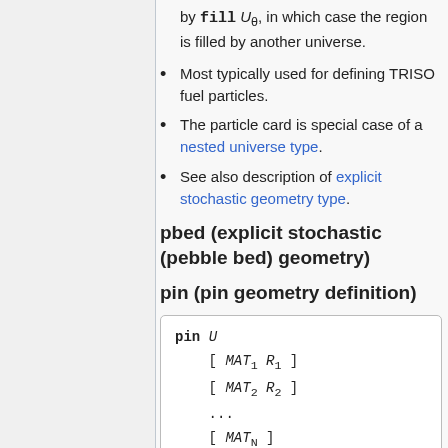by fill U_θ, in which case the region is filled by another universe.
Most typically used for defining TRISO fuel particles.
The particle card is special case of a nested universe type.
See also description of explicit stochastic geometry type.
pbed (explicit stochastic (pebble bed) geometry)
pin (pin geometry definition)